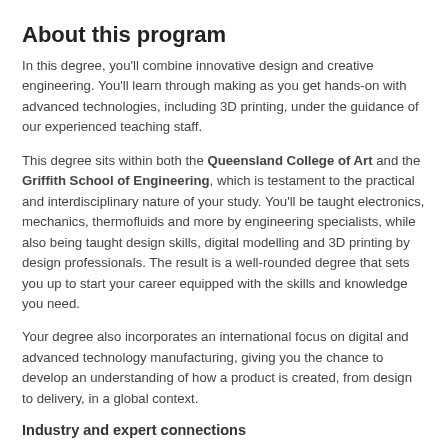About this program
In this degree, you'll combine innovative design and creative engineering. You'll learn through making as you get hands-on with advanced technologies, including 3D printing, under the guidance of our experienced teaching staff.
This degree sits within both the Queensland College of Art and the Griffith School of Engineering, which is testament to the practical and interdisciplinary nature of your study. You'll be taught electronics, mechanics, thermofluids and more by engineering specialists, while also being taught design skills, digital modelling and 3D printing by design professionals. The result is a well-rounded degree that sets you up to start your career equipped with the skills and knowledge you need.
Your degree also incorporates an international focus on digital and advanced technology manufacturing, giving you the chance to develop an understanding of how a product is created, from design to delivery, in a global context.
Industry and expert connections
Throughout your degree, you'll interact with experts in the industry to put what you learn in the classroom into practice while developing strong industry connections. In your first year, you'll have the opportunity to visit